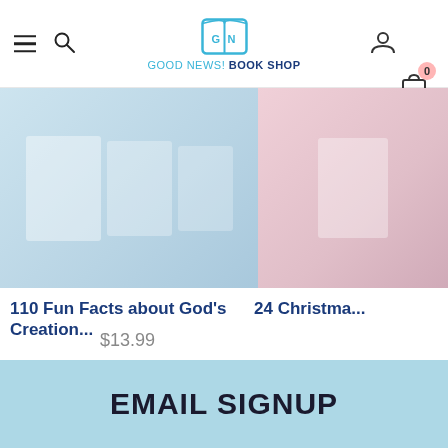Good News! Book Shop
[Figure (screenshot): Book product image for '110 Fun Facts about God's Creation...' showing book covers on light blue background]
110 Fun Facts about God's Creation...
$13.99
[Figure (screenshot): Partial book product image for '24 Christma...' on pink/rose background]
24 Christma...
EMAIL SIGNUP